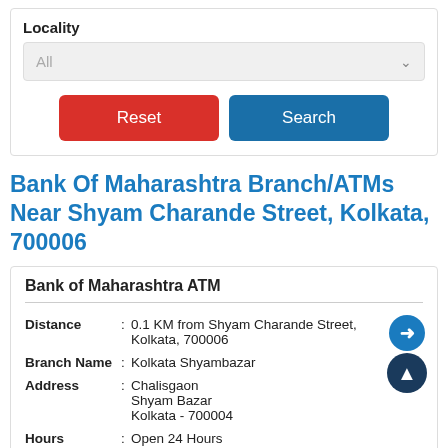Locality
All
Reset
Search
Bank Of Maharashtra Branch/ATMs Near Shyam Charande Street, Kolkata, 700006
| Field | : | Value |
| --- | --- | --- |
| Distance | : | 0.1 KM from Shyam Charande Street, Kolkata, 700006 |
| Branch Name | : | Kolkata Shyambazar |
| Address | : | Chalisgaon
Shyam Bazar
Kolkata - 700004 |
| Hours | : | Open 24 Hours |